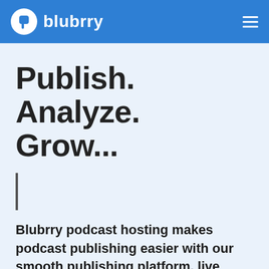[Figure (logo): Blubrry logo with white circle icon and white text 'blubrry' on blue header bar, with hamburger menu icon on the right]
Publish. Analyze. Grow...
Blubrry podcast hosting makes podcast publishing easier with our smooth publishing platform, live customer support, stress-free migration,